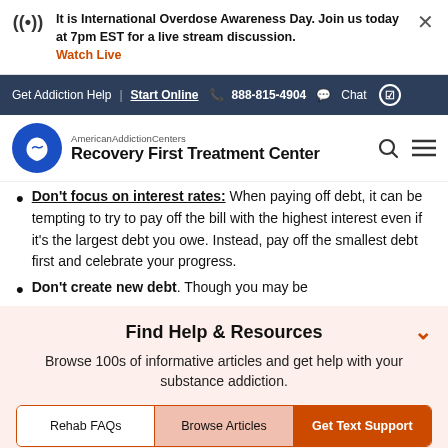It is International Overdose Awareness Day. Join us today at 7pm EST for a live stream discussion. Watch Live
Get Addiction Help  Start Online  888-815-4904  Chat
American Addiction Centers Recovery First Treatment Center
Don't focus on interest rates: When paying off debt, it can be tempting to try to pay off the bill with the highest interest even if it's the largest debt you owe. Instead, pay off the smallest debt first and celebrate your progress.
Don't create new debt. Though you may be
Find Help & Resources
Browse 100s of informative articles and get help with your substance addiction.
Rehab FAQs  Browse Articles  Get Text Support